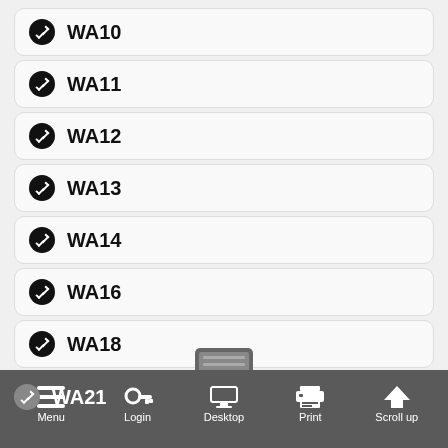WA10
WA11
WA12
WA13
WA14
WA16
WA18
WA20
WA21
Menu  Login  Desktop  Print  Scroll up